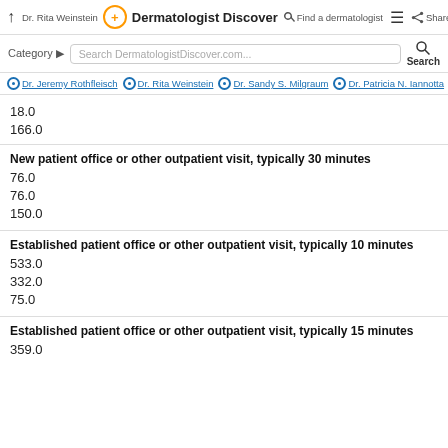Dr. Rita Weinstein | Dermatologist Discover | Find a dermatologist | Share
Category | Search DermatologistDiscover.com... | Search
Dr. Jeremy Rothfleisch | Dr. Rita Weinstein | Dr. Sandy S. Milgraum | Dr. Patricia N. Iannotta
18.0
166.0
New patient office or other outpatient visit, typically 30 minutes
76.0
76.0
150.0
Established patient office or other outpatient visit, typically 10 minutes
533.0
332.0
75.0
Established patient office or other outpatient visit, typically 15 minutes
359.0